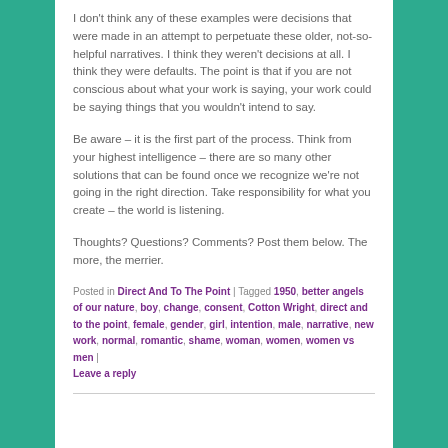I don't think any of these examples were decisions that were made in an attempt to perpetuate these older, not-so-helpful narratives. I think they weren't decisions at all. I think they were defaults. The point is that if you are not conscious about what your work is saying, your work could be saying things that you wouldn't intend to say.
Be aware – it is the first part of the process. Think from your highest intelligence – there are so many other solutions that can be found once we recognize we're not going in the right direction. Take responsibility for what you create – the world is listening.
Thoughts? Questions? Comments? Post them below. The more, the merrier.
Posted in Direct And To The Point | Tagged 1950, better angels of our nature, boy, change, consent, Cotton Wright, direct and to the point, female, gender, girl, intention, male, narrative, new work, normal, romantic, shame, woman, women, women vs men | Leave a reply